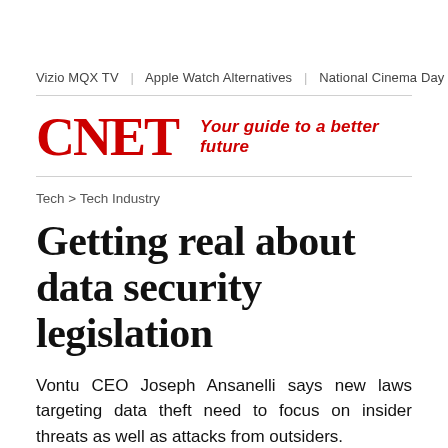Vizio MQX TV | Apple Watch Alternatives | National Cinema Day | Be...
CNET — Your guide to a better future
Tech > Tech Industry
Getting real about data security legislation
Vontu CEO Joseph Ansanelli says new laws targeting data theft need to focus on insider threats as well as attacks from outsiders.